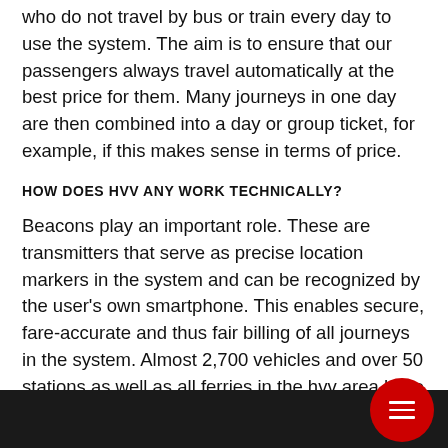who do not travel by bus or train every day to use the system. The aim is to ensure that our passengers always travel automatically at the best price for them. Many journeys in one day are then combined into a day or group ticket, for example, if this makes sense in terms of price.
HOW DOES HVV ANY WORK TECHNICALLY?
Beacons play an important role. These are transmitters that serve as precise location markers in the system and can be recognized by the user's own smartphone. This enables secure, fare-accurate and thus fair billing of all journeys in the system. Almost 2,700 vehicles and over 50 stations as well as all ferries in the hvv area have already been equipped with beacons for this purpose.